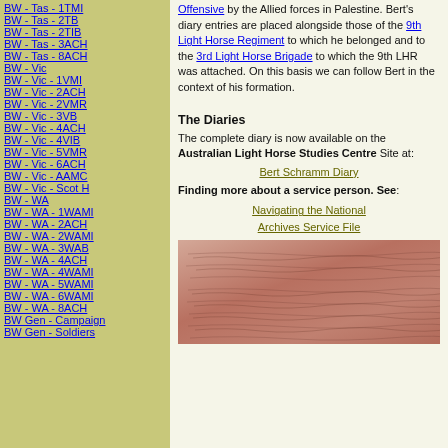BW - Tas - 1TMI
BW - Tas - 2TB
BW - Tas - 2TIB
BW - Tas - 3ACH
BW - Tas - 8ACH
BW - Vic
BW - Vic - 1VMI
BW - Vic - 2ACH
BW - Vic - 2VMR
BW - Vic - 3VB
BW - Vic - 4ACH
BW - Vic - 4VIB
BW - Vic - 5VMR
BW - Vic - 6ACH
BW - Vic - AAMC
BW - Vic - Scot H
BW - WA
BW - WA - 1WAMI
BW - WA - 2ACH
BW - WA - 2WAMI
BW - WA - 3WAB
BW - WA - 4ACH
BW - WA - 4WAMI
BW - WA - 5WAMI
BW - WA - 6WAMI
BW - WA - 8ACH
BW Gen - Campaign
BW Gen - Soldiers
Offensive by the Allied forces in Palestine. Bert's diary entries are placed alongside those of the 9th Light Horse Regiment to which he belonged and to the 3rd Light Horse Brigade to which the 9th LHR was attached. On this basis we can follow Bert in the context of his formation.
The Diaries
The complete diary is now available on the Australian Light Horse Studies Centre Site at:
Bert Schramm Diary
Finding more about a service person. See:
Navigating the National Archives Service File
[Figure (photo): Photograph of a handwritten diary page with pink/terracotta toned paper showing faded cursive handwriting]